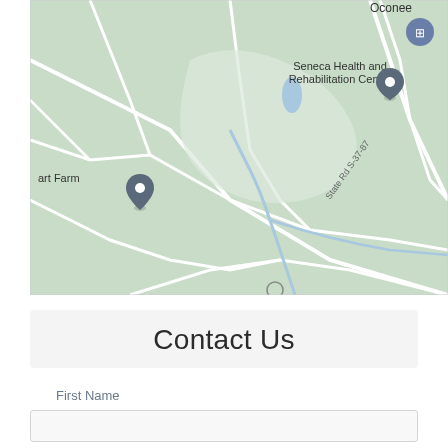[Figure (map): Google Maps view showing Seneca Health and Rehabilitation Center and surrounding area with roads including State Rd S-37-87. Two map pins visible: one for 'art Farm' on the left and one for 'Seneca Health and Rehabilitation Center' in the upper center. A museum/landmark pin visible in the top right labeled 'Oconee'. Green terrain with white roads and light blue water features.]
Contact Us
First Name